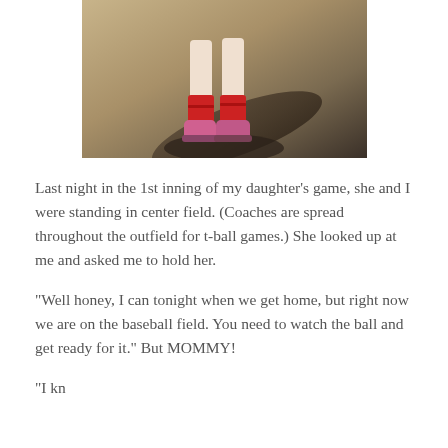[Figure (photo): Photo of a child's legs wearing red socks and pink sneakers standing on a dirt baseball field, with a shadow visible on the ground.]
Last night in the 1st inning of my daughter's game, she and I were standing in center field. (Coaches are spread throughout the outfield for t-ball games.) She looked up at me and asked me to hold her.
“Well honey, I can tonight when we get home, but right now we are on the baseball field. You need to watch the ball and get ready for it.” But MOMMY!
“I kn...